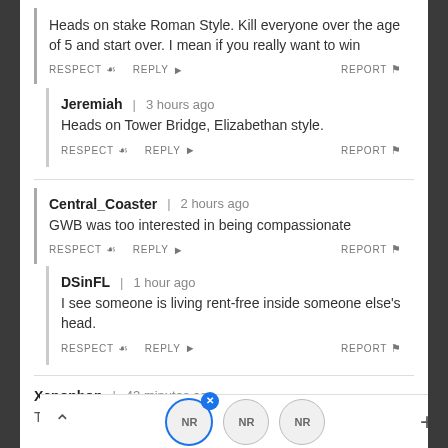Heads on stake Roman Style. Kill everyone over the age of 5 and start over. I mean if you really want to win
RESPECT  REPLY  REPORT
Jeremiah | 3 hours ago
Heads on Tower Bridge, Elizabethan style.
RESPECT  REPLY  REPORT
Central_Coaster | 2 hours ago
GWB was too interested in being compassionate
RESPECT  REPLY  REPORT
DSinFL | 1 hour ago
I see someone is living rent-free inside someone else's head.
RESPECT  REPLY  REPORT
Xenophon | 43 minutes ago
This is not a serious analysis of our Afghanistan